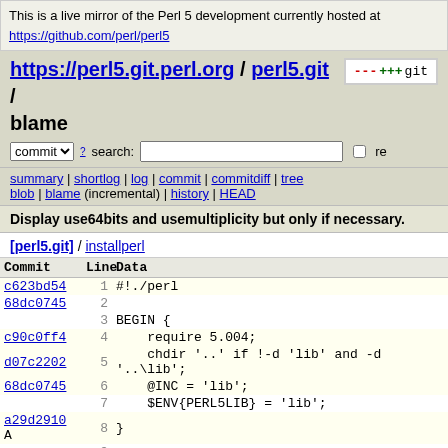This is a live mirror of the Perl 5 development currently hosted at https://github.com/perl/perl5
https://perl5.git.perl.org / perl5.git / blame
commit search: re
summary | shortlog | log | commit | commitdiff | tree blob | blame (incremental) | history | HEAD
Display use64bits and usemultiplicity but only if necessary.
[perl5.git] / installperl
| Commit | Line | Data |
| --- | --- | --- |
| c623bd54 | 1 | #!./perl |
| 68dc0745 | 2 |  |
|  | 3 | BEGIN { |
| c90c0ff4 | 4 |     require 5.004; |
| d07c2202 | 5 |     chdir '..' if !-d 'lib' and -d '..\lib'; |
| 68dc0745 | 6 |     @INC = 'lib'; |
|  | 7 |     $ENV{PERL5LIB} = 'lib'; |
| a29d2910 A | 8 | } |
|  | 9 |  |
|  | 10 | use strict; |
|  | 11 | use vars qw($Is_VMS $Is_W32 $Is_OS2 $nonono |
|  | 12 |  |
|  | 13 | BEGIN { |
| 17f28c40 | 14 |     $Is_VMS = $^O eq 'VMS'; |
| 4a71ed0c | 15 |     $Is_W32 = $^O eq 'MSWin32'; |
|  | 16 |  |